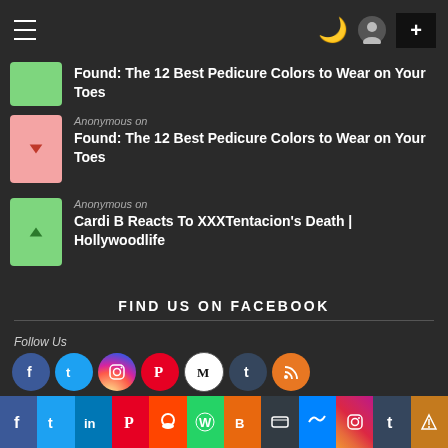≡  ) +
Found: The 12 Best Pedicure Colors to Wear on Your Toes
Anonymous on Found: The 12 Best Pedicure Colors to Wear on Your Toes
Anonymous on Cardi B Reacts To XXXTentacion's Death | Hollywoodlife
FIND US ON FACEBOOK
Follow Us
[Figure (infographic): Row of social media icons: Facebook, Twitter, Instagram, Pinterest, Medium, Tumblr, RSS]
[Figure (infographic): Bottom share bar with icons: Facebook, Twitter, LinkedIn, Pinterest, Reddit, WhatsApp, Blogger, Buffer, Messenger, Instagram, Tumblr, Share/Upload]